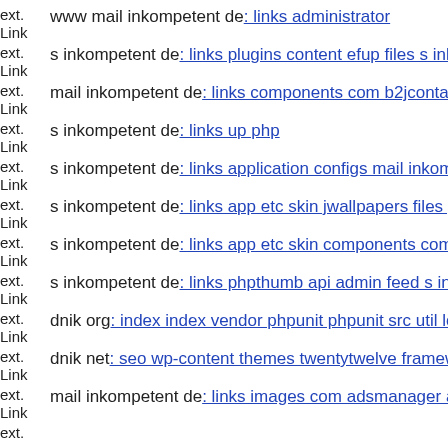ext. Link  www mail inkompetent de: links administrator
ext. Link  s inkompetent de: links plugins content efup files s inkompetent
ext. Link  mail inkompetent de: links components com b2jcontact compo
ext. Link  s inkompetent de: links up php
ext. Link  s inkompetent de: links application configs mail inkompetent d
ext. Link  s inkompetent de: links app etc skin jwallpapers files plupload
ext. Link  s inkompetent de: links app etc skin components com b2jcontact
ext. Link  s inkompetent de: links phpthumb api admin feed s inkompetent
ext. Link  dnik org: index index vendor phpunit phpunit src util log env
ext. Link  dnik net: seo wp-content themes twentytwelve framework mail
ext. Link  mail inkompetent de: links images com adsmanager ads upload
ext.